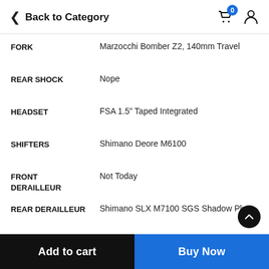Back to Category
| Spec | Value |
| --- | --- |
| FORK | Marzocchi Bomber Z2, 140mm Travel |
| REAR SHOCK | Nope |
| HEADSET | FSA 1.5" Taped Integrated |
| SHIFTERS | Shimano Deore M6100 |
| FRONT DERAILLEUR | Not Today |
| REAR DERAILLEUR | Shimano SLX M7100 SGS Shadow Plus |
| CRANKSET | Shimano MT511, 32T |
| BOTTOM BRACKET | – |